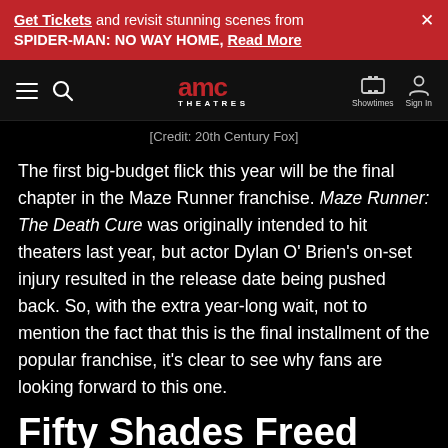Get Tickets and revisit stunning scenes from SPIDER-MAN: NO WAY HOME, Read More
[Figure (screenshot): AMC Theatres navigation bar with hamburger menu, search icon, AMC Theatres logo, Showtimes and Sign In icons]
[Credit: 20th Century Fox]
The first big-budget flick this year will be the final chapter in the Maze Runner franchise. Maze Runner: The Death Cure was originally intended to hit theaters last year, but actor Dylan O' Brien's on-set injury resulted in the release date being pushed back. So, with the extra year-long wait, not to mention the fact that this is the final installment of the popular franchise, it's clear to see why fans are looking forward to this one.
Fifty Shades Freed